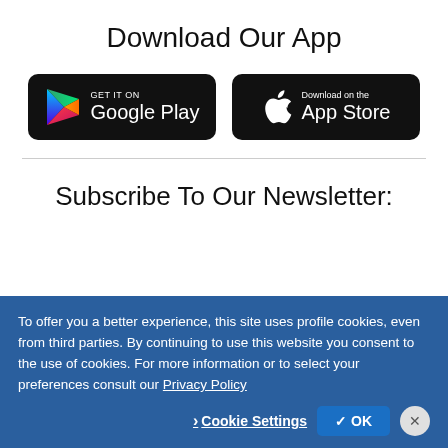Download Our App
[Figure (logo): Google Play Store badge — black rounded rectangle with Play triangle icon and text 'GET IT ON Google Play']
[Figure (logo): Apple App Store badge — black rounded rectangle with Apple logo icon and text 'Download on the App Store']
Subscribe To Our Newsletter:
To offer you a better experience, this site uses profile cookies, even from third parties. By continuing to use this website you consent to the use of cookies. For more information or to select your preferences consult our Privacy Policy
Cookie Settings   ✓ OK